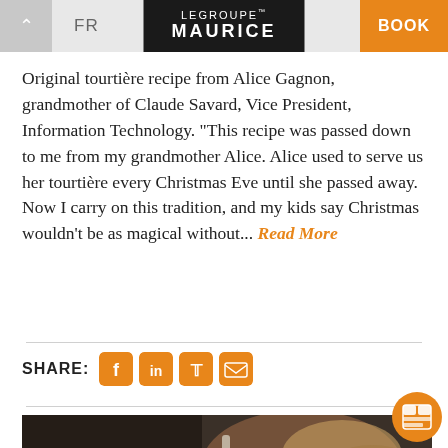FR | LE GROUPE MAURICE | BOOK
Original tourtière recipe from Alice Gagnon, grandmother of Claude Savard, Vice President, Information Technology. "This recipe was passed down to me from my grandmother Alice. Alice used to serve us her tourtière every Christmas Eve until she passed away. Now I carry on this tradition, and my kids say Christmas wouldn't be as magical without... Read More
SHARE:
OCTOBER 22, 2021
[Figure (photo): Food photograph showing pizza or meat pie on a wooden board with a knife]